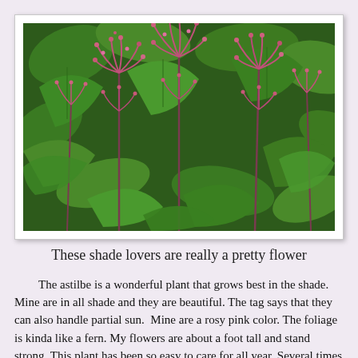[Figure (photo): Close-up photograph of astilbe plants with feathery pink-magenta flower plumes rising above dark green serrated foliage]
These shade lovers are really a pretty flower
The astilbe is a wonderful plant that grows best in the shade. Mine are in all shade and they are beautiful. The tag says that they can also handle partial sun.  Mine are a rosy pink color. The foliage is kinda like a fern. My flowers are about a foot tall and stand strong. This plant has been so easy to care for all year. Several times I have brought the flowers into the house for a beautiful bouquet. The flower blooms primarily in the spring and